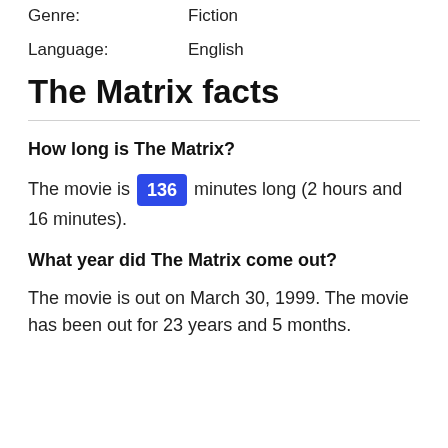Genre:    Fiction
Language:    English
The Matrix facts
How long is The Matrix?
The movie is 136 minutes long (2 hours and 16 minutes).
What year did The Matrix come out?
The movie is out on March 30, 1999. The movie has been out for 23 years and 5 months.